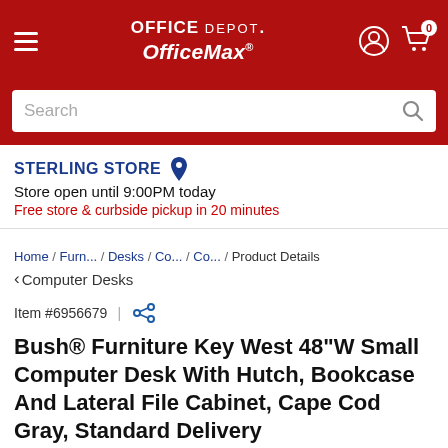Office Depot OfficeMax
Search
STERLING STORE
Store open until 9:00PM today
Free store & curbside pickup in 20 minutes
Home / Furn.../ Desks / Co... / Co... / Product Details
< Computer Desks
Item #6956679 |
Bush® Furniture Key West 48"W Small Computer Desk With Hutch, Bookcase And Lateral File Cabinet, Cape Cod Gray, Standard Delivery